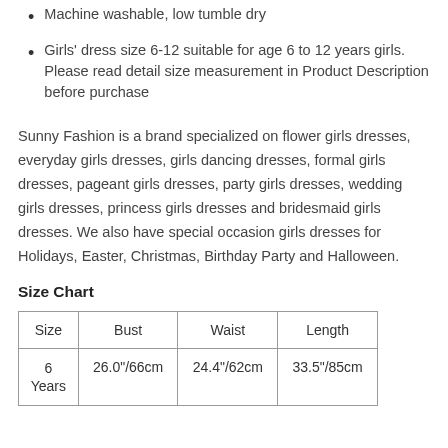Machine washable, low tumble dry
Girls' dress size 6-12 suitable for age 6 to 12 years girls. Please read detail size measurement in Product Description before purchase
Sunny Fashion is a brand specialized on flower girls dresses, everyday girls dresses, girls dancing dresses, formal girls dresses, pageant girls dresses, party girls dresses, wedding girls dresses, princess girls dresses and bridesmaid girls dresses. We also have special occasion girls dresses for Holidays, Easter, Christmas, Birthday Party and Halloween.
Size Chart
| Size | Bust | Waist | Length |
| --- | --- | --- | --- |
| 6 Years | 26.0"/66cm | 24.4"/62cm | 33.5"/85cm |